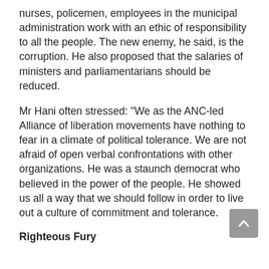nurses, policemen, employees in the municipal administration work with an ethic of responsibility to all the people. The new enemy, he said, is the corruption. He also proposed that the salaries of ministers and parliamentarians should be reduced.
Mr Hani often stressed: "We as the ANC-led Alliance of liberation movements have nothing to fear in a climate of political tolerance. We are not afraid of open verbal confrontations with other organizations. He was a staunch democrat who believed in the power of the people. He showed us all a way that we should follow in order to live out a culture of commitment and tolerance.
Righteous Fury